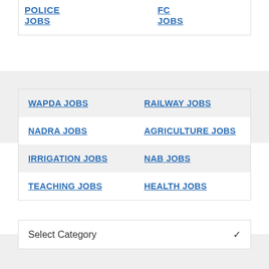POLICE JOBS
FC JOBS
WAPDA JOBS
RAILWAY JOBS
NADRA JOBS
AGRICULTURE JOBS
IRRIGATION JOBS
NAB JOBS
TEACHING JOBS
HEALTH JOBS
Select Category